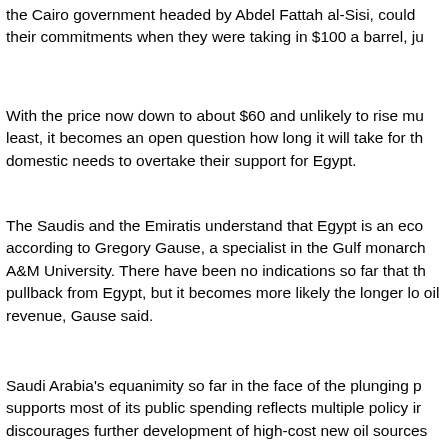the Cairo government headed by Abdel Fattah al-Sisi, could their commitments when they were taking in $100 a barrel, ju
With the price now down to about $60 and unlikely to rise mu least, it becomes an open question how long it will take for th domestic needs to overtake their support for Egypt.
The Saudis and the Emiratis understand that Egypt is an eco according to Gregory Gause, a specialist in the Gulf monarch A&M University. There have been no indications so far that th pullback from Egypt, but it becomes more likely the longer lo oil revenue, Gause said.
Saudi Arabia's equanimity so far in the face of the plunging p supports most of its public spending reflects multiple policy ir discourages further development of high-cost new oil sources United States, deep-sea wells off Brazil's coast, or new fields helps Saudi Arabia maintain its market share, a declared obje
And the Saudis seem quite content as the price contraction ir